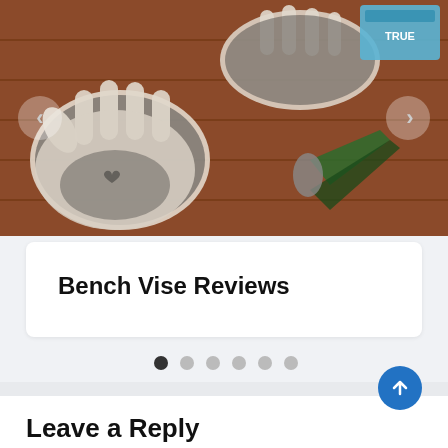[Figure (photo): Overhead photo of gardening/work gloves and pliers/tools laid out on a red wooden deck surface, with a small box in the upper right corner. Navigation arrows visible on left and right sides of the carousel.]
Bench Vise Reviews
[Figure (infographic): Carousel pagination dots: 6 dots total, first dot is dark/active, remaining 5 are light gray]
Leave a Reply